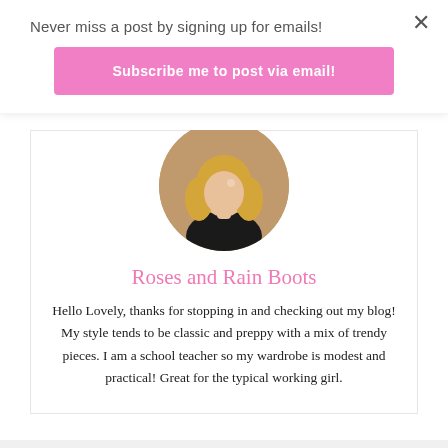Never miss a post by signing up for emails!
Subscribe me to post via email!
[Figure (photo): Circular profile photo of a blonde woman in a black top]
Roses and Rain Boots
Hello Lovely, thanks for stopping in and checking out my blog! My style tends to be classic and preppy with a mix of trendy pieces. I am a school teacher so my wardrobe is modest and practical! Great for the typical working girl.
Follow Me
[Figure (illustration): Four social media icons (Facebook, Pinterest, Instagram, heart/Bloglovin) in dark circular buttons]